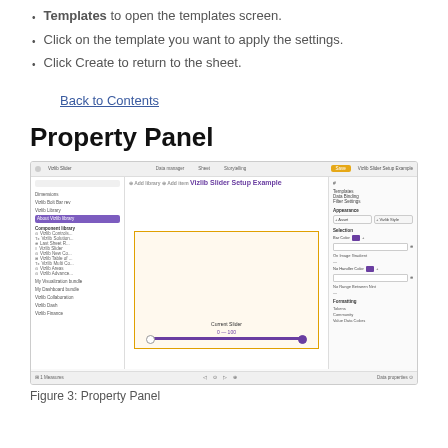Templates to open the templates screen.
Click on the template you want to apply the settings.
Click Create to return to the sheet.
Back to Contents
Property Panel
[Figure (screenshot): Screenshot of the Property Panel interface showing a slider setup example with left panel listing components, center canvas with a slider element, and right panel showing formatting options including Templates, Data Binding, Filter Settings, Appearance, Selection, and Formatting sections.]
Figure 3: Property Panel